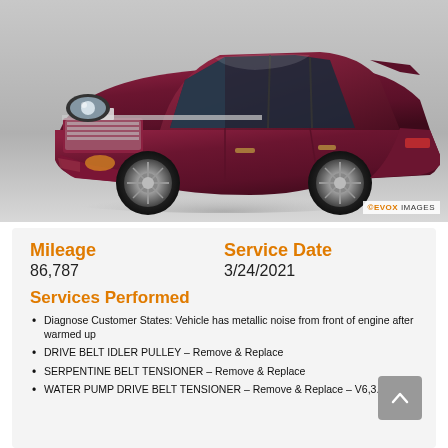[Figure (photo): A dark maroon/burgundy Cadillac CTS sedan photographed from a front three-quarter angle on a gray background. EVOX IMAGES watermark in lower right corner.]
Mileage
86,787
Service Date
3/24/2021
Services Performed
Diagnose Customer States: Vehicle has metallic noise from front of engine after warmed up
DRIVE BELT IDLER PULLEY – Remove & Replace
SERPENTINE BELT TENSIONER – Remove & Replace
WATER PUMP DRIVE BELT TENSIONER – Remove & Replace – V6,3.6L Eng